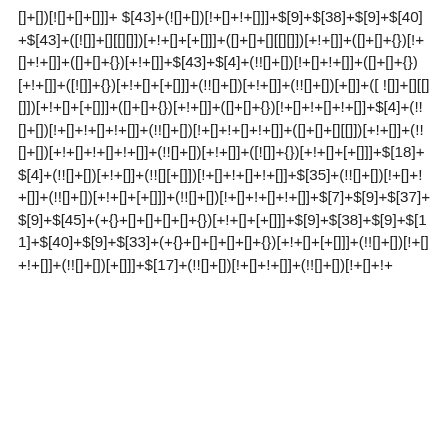[]+[])[![]+[]+[]]]+$[43]+(![]+[])[!+[]+[+[]]+{}[!+[]+[+[]]]+$[9]+$[38]+$[9]+$[40]+$[43]+([![]]+[][[][]])[+!+[]+[+[]]]+([]+[]+[][[][]])[+!+[]]+([][]+{})[!+[]+!+[]]+([]+[]+{})[+!+[]]+$[43]+$[4]+(!![]+[])[!+[]+!+[]]+([]+[]+{})[+!+[]]+([![]]+{})[+!+[]+[+[]]]+(!![]+[])[+!+[]]+(!![]+[])[+[]]]+([![]]+[][[][]])[+!+[]+[+[]]]+([]+[]+{})[+!+[]]+([][]+{})[!+[]+!+[]+!+[]]+$[4]+(!![]+[])[!+[]+!+[]+!+[]]+(!![]+[])[!+[]+!+[]+!+[]]+([]+[]+[][[]])[+!+[]]+(!![]+[])[+!+[]+!+[]+!+[]]+(!![]+[])[+!+[]]+([![]]+{})[+!+[]+[+[]]]+$[18]+$[4]+(!![]+[])[+!+[]]+(!![][+[]])[!+[]+!+[]+!+[]]+$[35]+(!![]+[])[!+[]+!+[]]+(!![]+[])[+!+[]+[+[]]]+(!![]+[])[!+[]+!+[]+!+[]]+$[7]+$[9]+$[37]+$[9]+$[45]+(+{}+[]+[]+[]+[]+{})[+!+[]+[+[]]]+$[9]+$[38]+$[9]+$[11]+$[40]+$[9]+$[33]+(+{}+[]+[]+[]+[]+{})[+!+[]+[+[]]]+(!![]+[])[!+[]+!+[]]+(!![]+[])[+[]]]+$[17]+(!![]+[])[!+[]+!+[]]+(!![]+[])[!+[]+!+